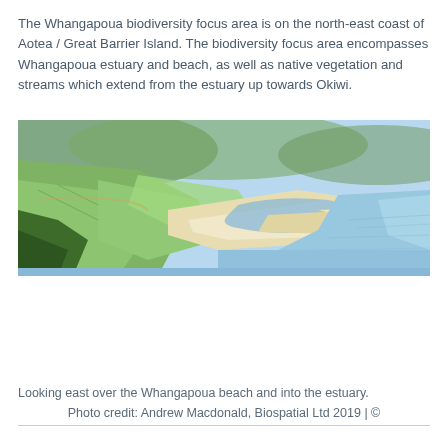The Whangapoua biodiversity focus area is on the north-east coast of Aotea / Great Barrier Island. The biodiversity focus area encompasses Whangapoua estuary and beach, as well as native vegetation and streams which extend from the estuary up towards Okiwi.
[Figure (photo): Aerial photograph looking east over Whangapoua beach and into the estuary, showing green farmland and native vegetation on the left, a sandy beach and estuary in the centre, and blue-green ocean on the right.]
Looking east over the Whangapoua beach and into the estuary.
Photo credit: Andrew Macdonald, Biospatial Ltd 2019 | ©